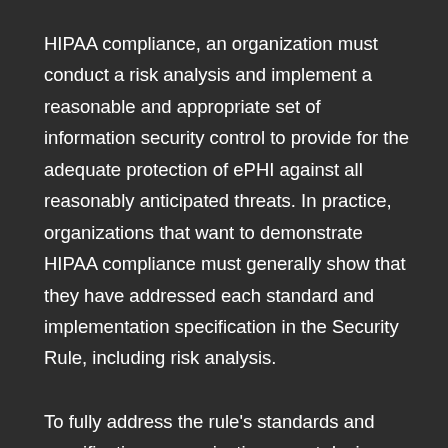HIPAA compliance, an organization must conduct a risk analysis and implement a reasonable and appropriate set of information security control to provide for the adequate protection of ePHI against all reasonably anticipated threats. In practice, organizations that want to demonstrate HIPAA compliance must generally show that they have addressed each standard and implementation specification in the Security Rule, including risk analysis.
To fully address the rule's standards and specifications, organizations must design or select multiple information security controls to provide the level of prescription necessary for implementation in the system or within the